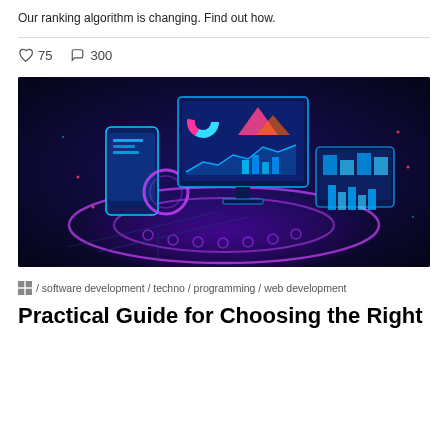Our ranking algorithm is changing. Find out how.
♡ 75  ○ 300
[Figure (illustration): Dark blue/purple futuristic isometric illustration of technology devices — a smartphone, a large monitor displaying dashboards/charts, and a tablet — connected by glowing neon purple circular rings and digital chain links, with data visualization elements, on a dark navy background.]
🏷 / software development / techno / programming / web development
Practical Guide for Choosing the Right